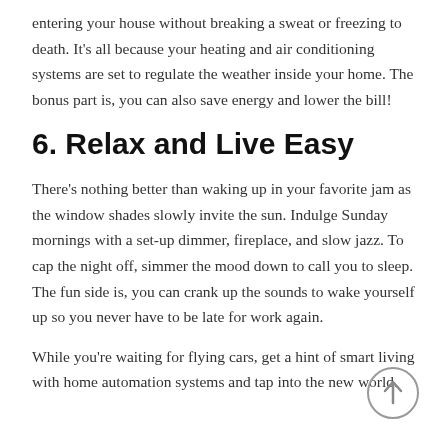entering your house without breaking a sweat or freezing to death. It's all because your heating and air conditioning systems are set to regulate the weather inside your home. The bonus part is, you can also save energy and lower the bill!
6. Relax and Live Easy
There's nothing better than waking up in your favorite jam as the window shades slowly invite the sun. Indulge Sunday mornings with a set-up dimmer, fireplace, and slow jazz. To cap the night off, simmer the mood down to call you to sleep. The fun side is, you can crank up the sounds to wake yourself up so you never have to be late for work again.
While you're waiting for flying cars, get a hint of smart living with home automation systems and tap into the new world.